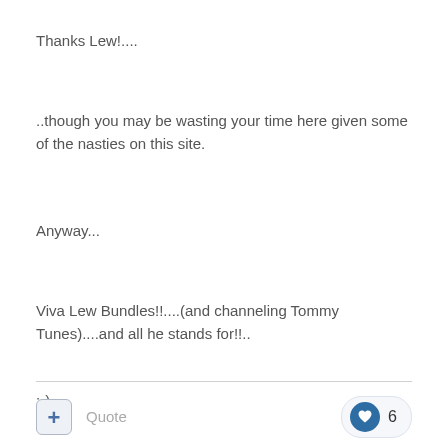Thanks Lew!....
..though you may be wasting your time here given some of the nasties on this site.
Anyway...
Viva Lew Bundles!!....(and channeling Tommy Tunes)....and all he stands for!!..
:-)